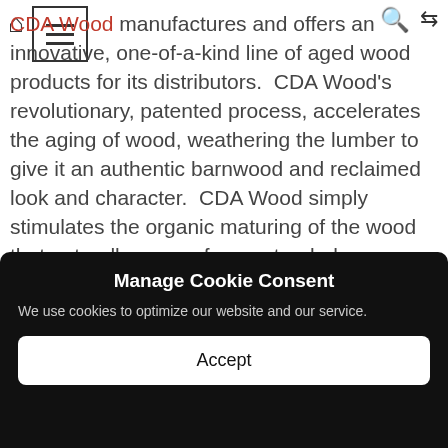CDA Wood manufactures and offers an innovative, one-of-a-kind line of aged wood products for its distributors.
CDA Wood manufactures and offers an innovative, one-of-a-kind line of aged wood products for its distributors. CDA Wood's revolutionary, patented process, accelerates the aging of wood, weathering the lumber to give it an authentic barnwood and reclaimed look and character. CDA Wood simply stimulates the organic maturing of the wood that naturally occurs from extended exposure to nature's' elements. CDA Wood achieves a unique color and exceptional aesthetic appeal on each piece of raw lumber without the use of paints, stains or other
[Figure (screenshot): Cookie consent modal overlay on dark background with title 'Manage Cookie Consent', description text, and Accept button]